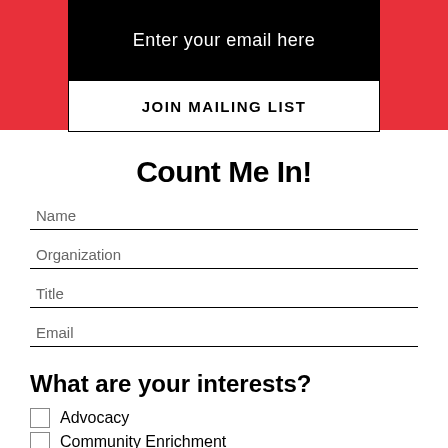Enter your email here
JOIN MAILING LIST
Count Me In!
Name
Organization
Title
Email
What are your interests?
Advocacy
Community Enrichment